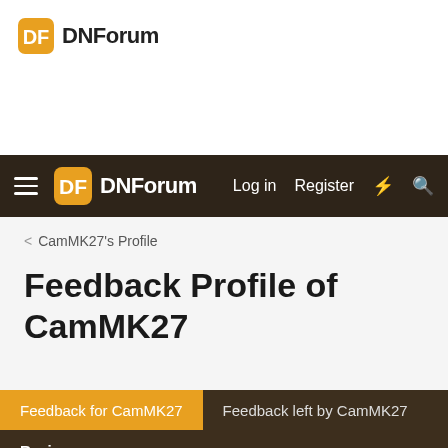[Figure (logo): DNForum logo with orange speech bubble icon and text 'DNForum' in top white area]
DNForum navigation bar with hamburger menu, DNForum logo, Log in, Register, lightning bolt and search icons
< CamMK27's Profile
Feedback Profile of CamMK27
Feedback for CamMK27  |  Feedback left by CamMK27
Review